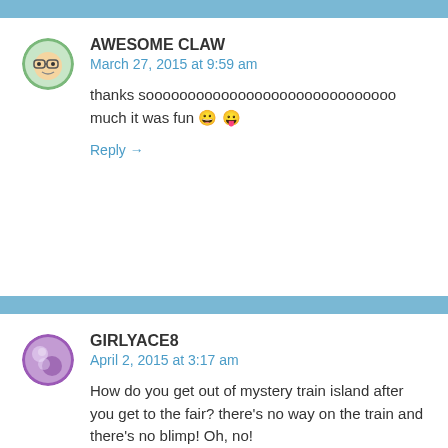AWESOME CLAW
March 27, 2015 at 9:59 am
thanks soooooooooooooooooooooooooooooo much it was fun 😀 😛
Reply →
GIRLYACE8
April 2, 2015 at 3:17 am
How do you get out of mystery train island after you get to the fair? there's no way on the train and there's no blimp! Oh, no!
Reply →